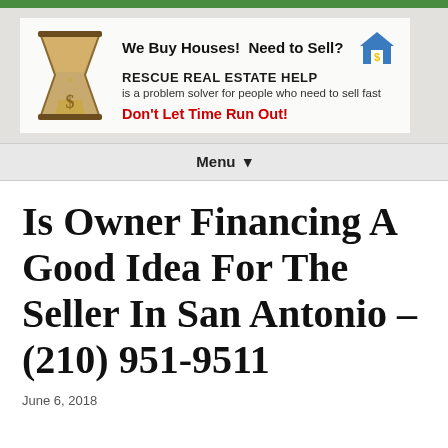[Figure (logo): Rescue Real Estate Help website header with hourglass logo, house icon, tagline, and red call-to-action text]
Menu ▾
Is Owner Financing A Good Idea For The Seller In San Antonio – (210) 951-9511
June 6, 2018